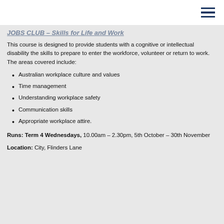JOBS CLUB – Skills for Life and Work
This course is designed to provide students with a cognitive or intellectual disability the skills to prepare to enter the workforce, volunteer or return to work. The areas covered include:
Australian workplace culture and values
Time management
Understanding workplace safety
Communication skills
Appropriate workplace attire.
Runs: Term 4 Wednesdays, 10.00am – 2.30pm, 5th October – 30th November
Location: City, Flinders Lane